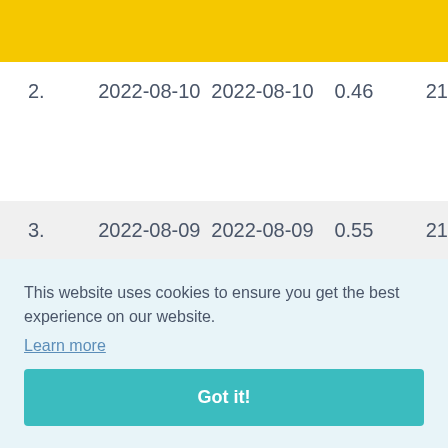[Figure (other): Yellow header banner at top of page]
| # | Date | Date | Value | Num |
| --- | --- | --- | --- | --- |
| 2. | 2022-08-10 | 2022-08-10 | 0.46 | 21 |
| 3. | 2022-08-09 | 2022-08-09 | 0.55 | 21 |
|  |  |  |  | 22 |
This website uses cookies to ensure you get the best experience on our website.
Learn more
Got it!